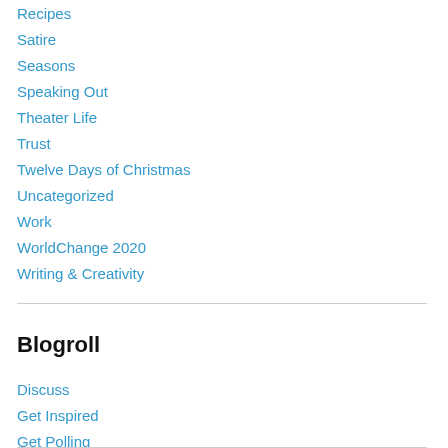Recipes
Satire
Seasons
Speaking Out
Theater Life
Trust
Twelve Days of Christmas
Uncategorized
Work
WorldChange 2020
Writing & Creativity
Blogroll
Discuss
Get Inspired
Get Polling